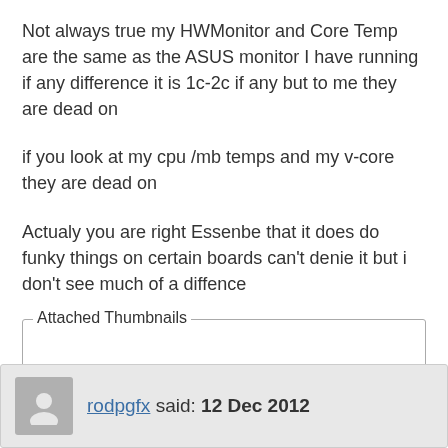Not always true my HWMonitor and Core Temp are the same as the ASUS monitor I have running if any difference it is 1c-2c if any but to me they are dead on
if you look at my cpu /mb temps and my v-core they are dead on
Actualy you are right Essenbe that it does do funky things on certain boards can't denie it but i don't see much of a diffence
Attached Thumbnails
rodpgfx said: 12 Dec 2012